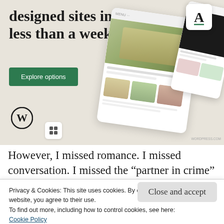[Figure (illustration): WordPress ad banner on beige background. Large bold text reads 'designed sites in less than a week'. Green 'Explore options' button. WordPress logo (circle W) at bottom left. Small device/app mockup screenshots on the right side showing food website layouts. Small square icon with grid symbol.]
However, I missed romance. I missed conversation. I missed the “partner in crime”
Privacy & Cookies: This site uses cookies. By continuing to use this website, you agree to their use.
To find out more, including how to control cookies, see here:
Cookie Policy
Close and accept
looking for a woman. It shouldn’t